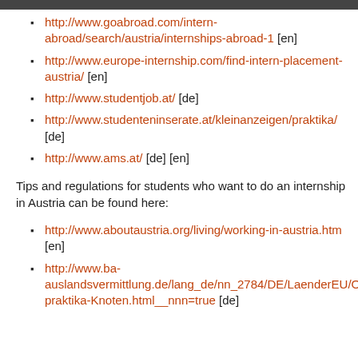http://www.goabroad.com/intern-abroad/search/austria/internships-abroad-1 [en]
http://www.europe-internship.com/find-intern-placement-austria/ [en]
http://www.studentjob.at/ [de]
http://www.studenteninserate.at/kleinanzeigen/praktika/ [de]
http://www.ams.at/ [de] [en]
Tips and regulations for students who want to do an internship in Austria can be found here:
http://www.aboutaustria.org/living/working-in-austria.htm [en]
http://www.ba-auslandsvermittlung.de/lang_de/nn_2784/DE/LaenderEU/Oesterreich/JobsPraktika/jobs-praktika-Knoten.html__nnn=true [de]